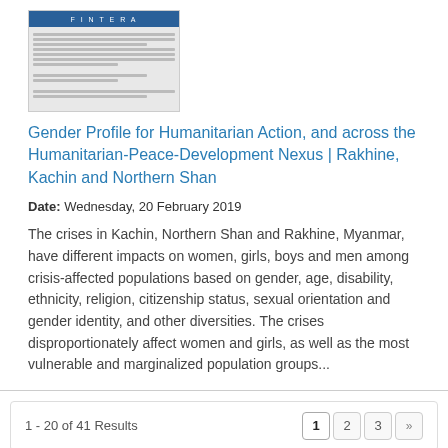[Figure (screenshot): Thumbnail image of a document with a blue header bar and lines of text below]
Gender Profile for Humanitarian Action, and across the Humanitarian-Peace-Development Nexus | Rakhine, Kachin and Northern Shan
Date: Wednesday, 20 February 2019
The crises in Kachin, Northern Shan and Rakhine, Myanmar, have different impacts on women, girls, boys and men among crisis-affected populations based on gender, age, disability, ethnicity, religion, citizenship status, sexual orientation and gender identity, and other diversities. The crises disproportionately affect women and girls, as well as the most vulnerable and marginalized population groups...
1 - 20 of 41 Results